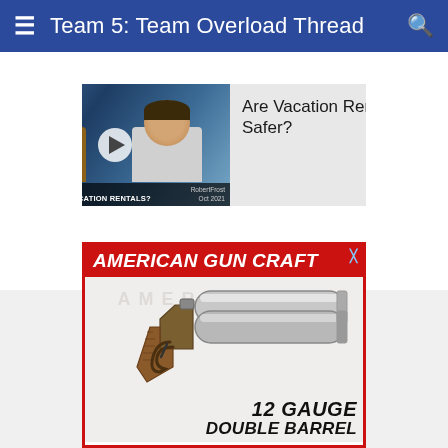Team 5: Team Overload Thread
[Figure (screenshot): Video thumbnail showing two men being interviewed, with caption 'HOW SAFE ARE VACATION RENTALS?' and a play button in the center. Background is blue studio setting.]
Are Vacation Rentals Safer?
[Figure (photo): Advertisement for American Gun Craft showing a 12 gauge double barrel pistol/derringer. Red banner header with white bold italic text 'AMERICAN GUN CRAFT'. Below is an image of a silver and wood double-barrel pistol. Text overlay reads '12 GAUGE DOUBLE BARREL'.]